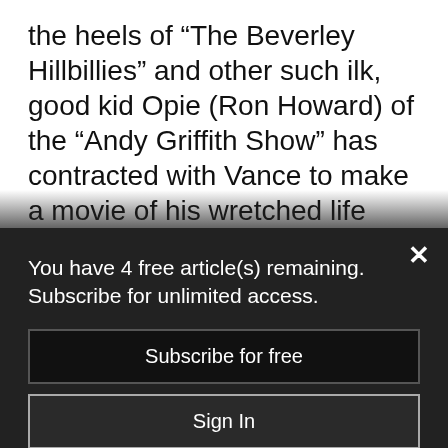the heels of “The Beverley Hillbillies” and other such ilk, good kid Opie (Ron Howard) of the “Andy Griffith Show” has contracted with Vance to make a movie of his wretched life and redemption by Yale and Silicon Valley. Griffith hailed from Mt. Airy, North Carolina, a foothills Appalachian town where he got his start on WPAQ, a stalwart station in the
You have 4 free article(s) remaining. Subscribe for unlimited access.
Subscribe for free
Sign In